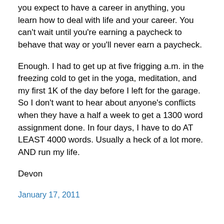you expect to have a career in anything, you learn how to deal with life and your career. You can't wait until you're earning a paycheck to behave that way or you'll never earn a paycheck.
Enough. I had to get up at five frigging a.m. in the freezing cold to get in the yoga, meditation, and my first 1K of the day before I left for the garage. So I don't want to hear about anyone's conflicts when they have a half a week to get a 1300 word assignment done. In four days, I have to do AT LEAST 4000 words. Usually a heck of a lot more. AND run my life.
Devon
January 17, 2011